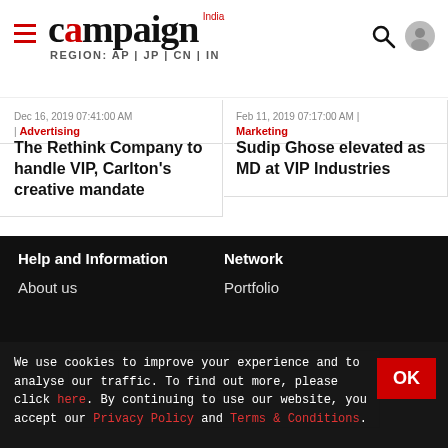campaign India — REGION: AP | JP | CN | IN
Dec 16, 2019 07:41:00 AM | Advertising
The Rethink Company to handle VIP, Carlton's creative mandate
Feb 11, 2019 07:17:00 AM | Marketing
Sudip Ghose elevated as MD at VIP Industries
[Figure (other): Ad placeholder box with label 'Ad']
Help and Information
Network
About us
Portfolio
We use cookies to improve your experience and to analyse our traffic. To find out more, please click here. By continuing to use our website, you accept our Privacy Policy and Terms & Conditions.